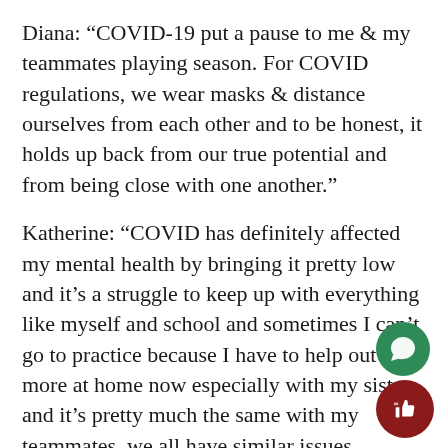Diana: “COVID-19 put a pause to me & my teammates playing season. For COVID regulations, we wear masks & distance ourselves from each other and to be honest, it holds up back from our true potential and from being close with one another.”
Katherine: “COVID has definitely affected my mental health by bringing it pretty low and it’s a struggle to keep up with everything like myself and school and sometimes I can’t go to practice because I have to help out more at home now especially with my sister and it’s pretty much the same with my teammates, we all have similar issues especially during COVID whether it’s going to games or practice or just in general. COVID has definitely affected us in some way.”
All of the girls seem to agree that masks are a
[Figure (illustration): Green circular chat/comment button icon]
[Figure (illustration): Dark red circular thumbs-up/like button icon]